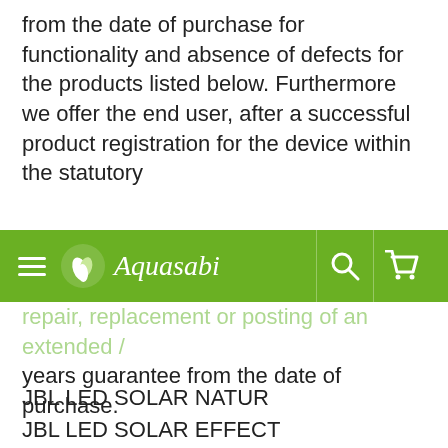from the date of purchase for functionality and absence of defects for the products listed below. Furthermore we offer the end user, after a successful product registration for the device within the statutory
[Figure (other): Aquasabi website navigation bar with green background, hamburger menu icon, plant/leaf logo, 'Aquasabi' brand name in italic, search icon, and shopping cart icon]
repair, replacement or posting of an extended / years guarantee from the date of purchase.
JBL LED SOLAR NATUR
JBL LED SOLAR EFFECT
The failure of up to 5 % of the individual LEDs within the guarantee period is not considered a product defect. The guarantee includes the repair at our discretion by replacement (free delivery of a comparable product) or its overhaul in accordance with the technical